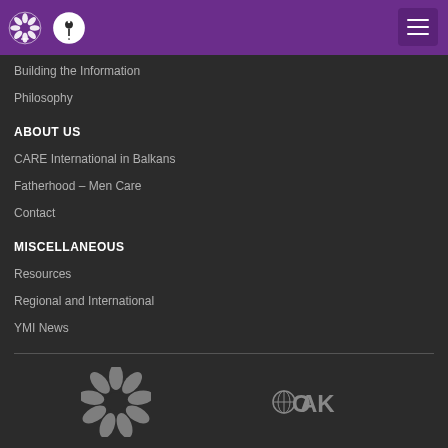CARE International / YMI header with hamburger menu
Building the Information
Philosophy
ABOUT US
CARE International in Balkans
Fatherhood – Men Care
Contact
MISCELLANEOUS
Resources
Regional and International
YMI News
[Figure (logo): CARE International logo (flower/hands motif in gray)]
[Figure (logo): OAK Foundation logo with globe icon in gray]